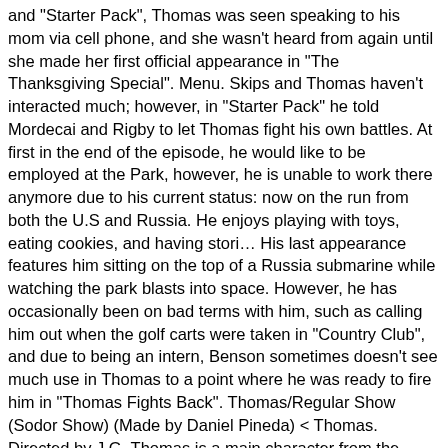and "Starter Pack", Thomas was seen speaking to his mom via cell phone, and she wasn't heard from again until she made her first official appearance in "The Thanksgiving Special". Menu. Skips and Thomas haven't interacted much; however, in "Starter Pack" he told Mordecai and Rigby to let Thomas fight his own battles. At first in the end of the episode, he would like to be employed at the Park, however, he is unable to work there anymore due to his current status: now on the run from both the U.S and Russia. He enjoys playing with toys, eating cookies, and having stori… His last appearance features him sitting on the top of a Russia submarine while watching the park blasts into space. However, he has occasionally been on bad terms with him, such as calling him out when the golf carts were taken in "Country Club", and due to being an intern, Benson sometimes doesn't see much use in Thomas to a point where he was ready to fire him in "Thomas Fights Back". Thomas/Regular Show (Sodor Show) (Made by Daniel Pineda) < Thomas. Directed by J.G. Thomas is a main character from the Cartoon Network series, Regular Show. Regular Show